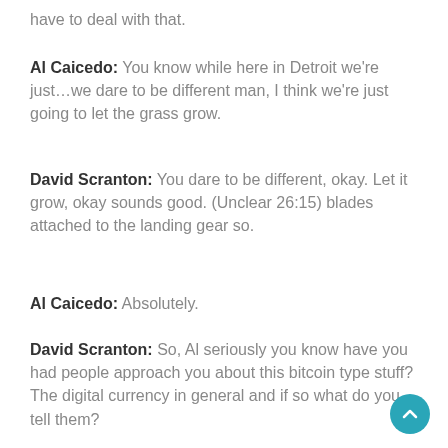have to deal with that.
Al Caicedo: You know while here in Detroit we're just…we dare to be different man, I think we're just going to let the grass grow.
David Scranton: You dare to be different, okay. Let it grow, okay sounds good. (Unclear 26:15) blades attached to the landing gear so.
Al Caicedo: Absolutely.
David Scranton: So, Al seriously you know have you had people approach you about this bitcoin type stuff? The digital currency in general and if so what do you tell them?